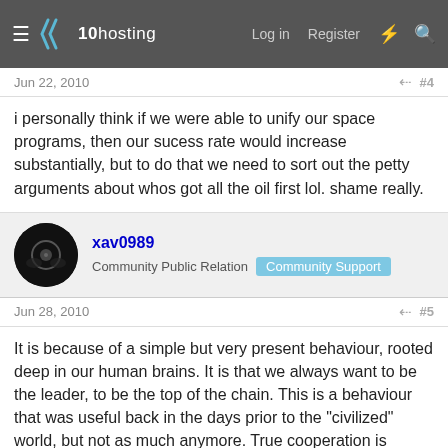x10hosting — Log in  Register
Jun 22, 2010  #4
i personally think if we were able to unify our space programs, then our sucess rate would increase substantially, but to do that we need to sort out the petty arguments about whos got all the oil first lol. shame really.
xav0989
Community Public Relation  Community Support
Jun 28, 2010  #5
It is because of a simple but very present behaviour, rooted deep in our human brains. It is that we always want to be the leader, to be the top of the chain. This is a behaviour that was useful back in the days prior to the "civilized" world, but not as much anymore. True cooperation is almost inexistent, and unity will not come until true cooperation is present.